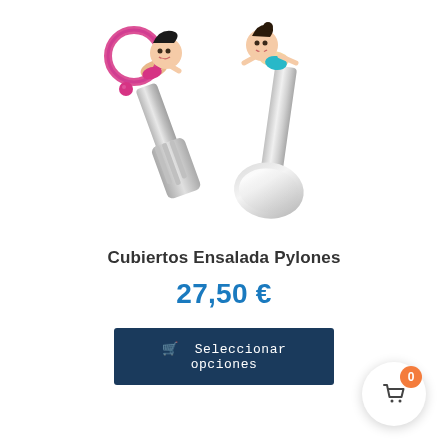[Figure (photo): Product photo of Cubiertos Ensalada Pylones: two decorative salad servers (fork and spoon) with gymnast figurines on the handles. One figurine is pink/magenta, the other is light-skin toned in a teal outfit. The utensils are stainless steel with a polished chrome finish.]
Cubiertos Ensalada Pylones
27,50 €
🛒 Seleccionar opciones